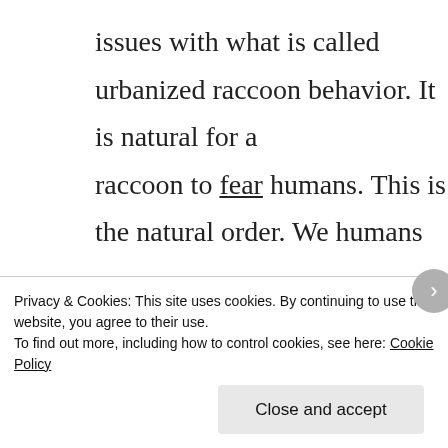issues with what is called urbanized raccoon behavior. It is natural for a raccoon to fear humans. This is the natural order. We humans are at the top of the food chain or the top predator. Unfortunately recently raccoons have started to show signs
Privacy & Cookies: This site uses cookies. By continuing to use this website, you agree to their use.
To find out more, including how to control cookies, see here: Cookie Policy
Close and accept